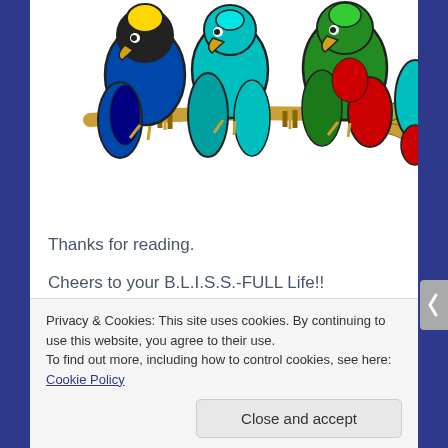[Figure (illustration): Colorful cartoon parrots sitting on a branch. Multiple parrots in blue, yellow, cyan, green, and red colors perched on a brown branch. The image is cropped at the top.]
Thanks for reading.
Cheers to your B.L.I.S.S.-FULL Life!!
Ronda Del Boccio
Privacy & Cookies: This site uses cookies. By continuing to use this website, you agree to their use.
To find out more, including how to control cookies, see here: Cookie Policy